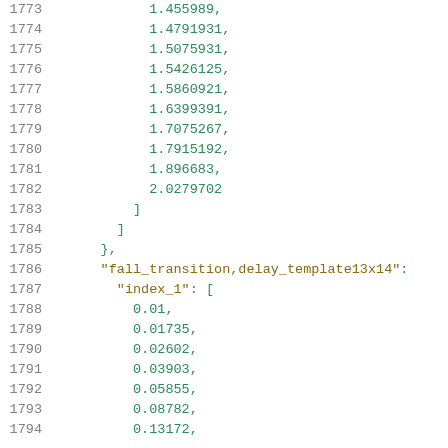Code listing lines 1773-1794 showing numeric array values and fall_transition delay_template13x14 data structure with index_1 array beginning
1773: 1.455989,
1774: 1.4791931,
1775: 1.5075931,
1776: 1.5426125,
1777: 1.5860921,
1778: 1.6399391,
1779: 1.7075267,
1780: 1.7915192,
1781: 1.896683,
1782: 2.0279702
1783: ]
1784: ]
1785: },
1786: "fall_transition,delay_template13x14":
1787: "index_1": [
1788: 0.01,
1789: 0.01735,
1790: 0.02602,
1791: 0.03903,
1792: 0.05855,
1793: 0.08782,
1794: 0.13172,